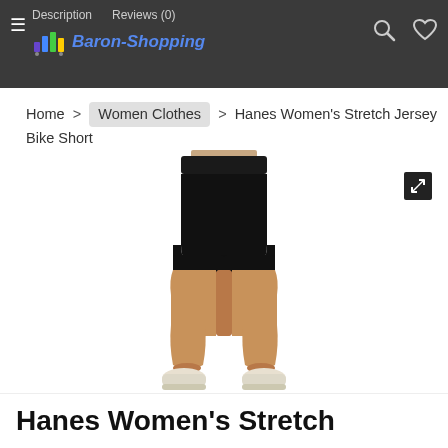Baron-Shopping — Description | Reviews (0)
Home > Women Clothes > Hanes Women's Stretch Jersey Bike Short
[Figure (photo): Woman wearing black Hanes Women's Stretch Jersey Bike Short with white sneakers, product shot from waist down]
Hanes Women's Stretch